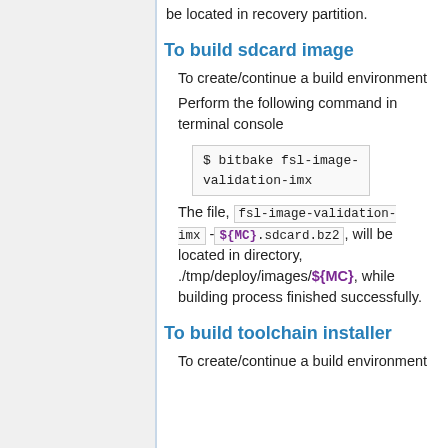be located in recovery partition.
To build sdcard image
To create/continue a build environment
Perform the following command in terminal console
The file, fsl-image-validation-imx -${MC}.sdcard.bz2, will be located in directory, ./tmp/deploy/images/${MC}, while building process finished successfully.
To build toolchain installer
To create/continue a build environment